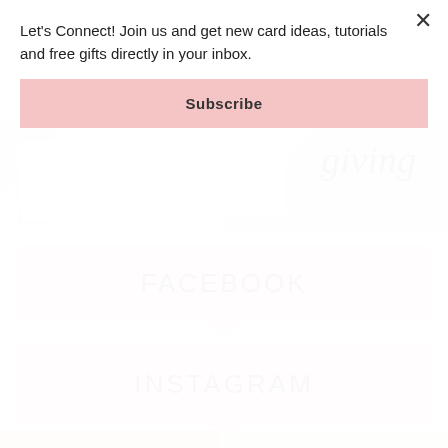Let's Connect! Join us and get new card ideas, tutorials and free gifts directly in your inbox.
Subscribe
[Figure (photo): Partial photo showing white cards or papers with cursive script text reading 'giving', with a pink border element visible]
FACEBOOK
INSTAGRAM
[Figure (photo): Bottom strip showing two partial photos partially visible at the bottom of the page]